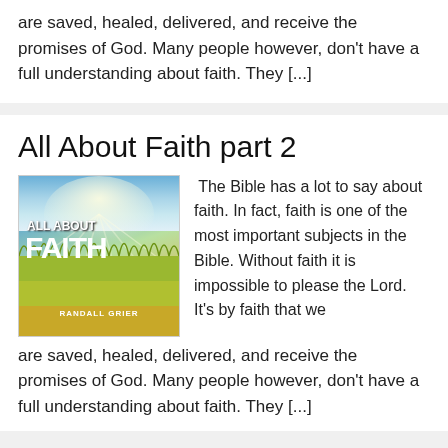are saved, healed, delivered, and receive the promises of God. Many people however, don't have a full understanding about faith. They [...]
All About Faith part 2
[Figure (illustration): Book cover for 'All About Faith' by Randall Grier, showing a field of tall grass under a bright sky with light rays]
The Bible has a lot to say about faith. In fact, faith is one of the most important subjects in the Bible. Without faith it is impossible to please the Lord. It's by faith that we are saved, healed, delivered, and receive the promises of God. Many people however, don't have a full understanding about faith. They [...]